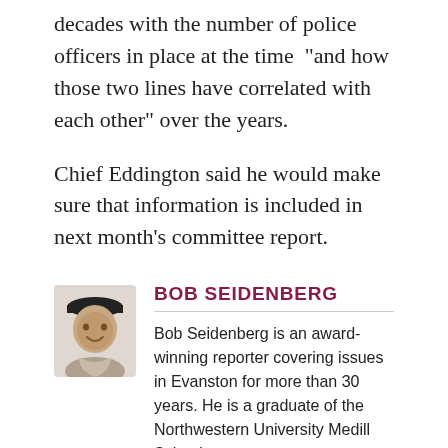decades with the number of police officers in place at the time “and how those two lines have correlated with each other” over the years.
Chief Eddington said he would make sure that information is included in next month’s committee report.
[Figure (photo): Headshot photo of Bob Seidenberg, a man wearing a dark cap, smiling]
BOB SEIDENBERG
Bob Seidenberg is an award-winning reporter covering issues in Evanston for more than 30 years. He is a graduate of the Northwestern University Medill School